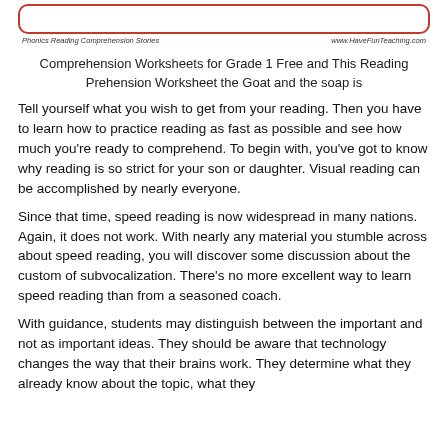[Figure (other): Red rounded rectangle border/box at top of page]
Phonics Reading Comprehension Stories    www.HaveFunTeaching.com
Comprehension Worksheets for Grade 1 Free and This Reading Prehension Worksheet the Goat and the soap is
Tell yourself what you wish to get from your reading. Then you have to learn how to practice reading as fast as possible and see how much you're ready to comprehend. To begin with, you've got to know why reading is so strict for your son or daughter. Visual reading can be accomplished by nearly everyone.
Since that time, speed reading is now widespread in many nations. Again, it does not work. With nearly any material you stumble across about speed reading, you will discover some discussion about the custom of subvocalization. There's no more excellent way to learn speed reading than from a seasoned coach.
With guidance, students may distinguish between the important and not as important ideas. They should be aware that technology changes the way that their brains work. They determine what they already know about the topic, what they